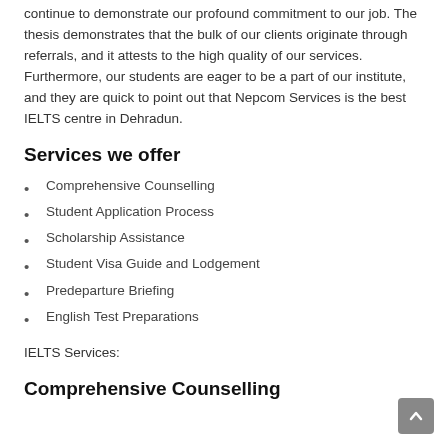continue to demonstrate our profound commitment to our job. The thesis demonstrates that the bulk of our clients originate through referrals, and it attests to the high quality of our services. Furthermore, our students are eager to be a part of our institute, and they are quick to point out that Nepcom Services is the best IELTS centre in Dehradun.
Services we offer
Comprehensive Counselling
Student Application Process
Scholarship Assistance
Student Visa Guide and Lodgement
Predeparture Briefing
English Test Preparations
IELTS Services:
Comprehensive Counselling